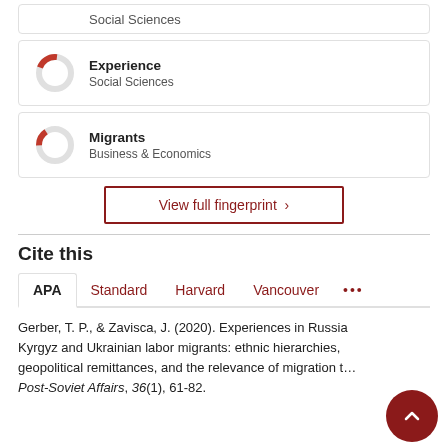[Figure (donut-chart): Partial card cut off at top showing Social Sciences text]
Experience
Social Sciences
Migrants
Business & Economics
View full fingerprint >
Cite this
APA  Standard  Harvard  Vancouver  ...
Gerber, T. P., & Zavisca, J. (2020). Experiences in Russia: Kyrgyz and Ukrainian labor migrants: ethnic hierarchies, geopolitical remittances, and the relevance of migration t... Post-Soviet Affairs, 36(1), 61-82.